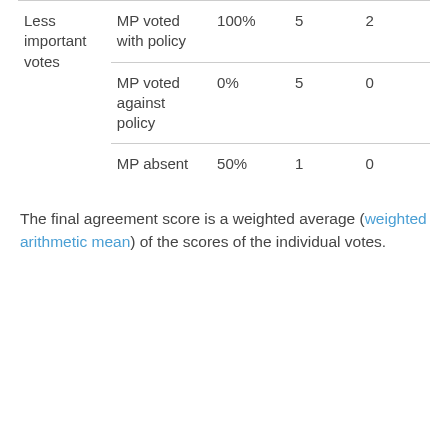| Less important votes | MP voted with policy | 100% | 5 | 2 |
|  | MP voted against policy | 0% | 5 | 0 |
|  | MP absent | 50% | 1 | 0 |
The final agreement score is a weighted average (weighted arithmetic mean) of the scores of the individual votes.